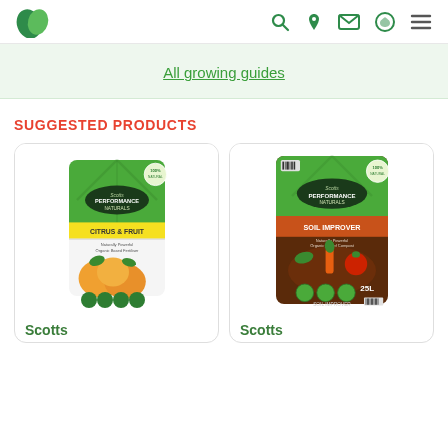Navigation header with logo and icons
All growing guides
SUGGESTED PRODUCTS
[Figure (photo): Scotts Performance Naturals Citrus & Fruit fertilizer product bag]
Scotts
[Figure (photo): Scotts Performance Naturals Soil Improver product bag]
Scotts